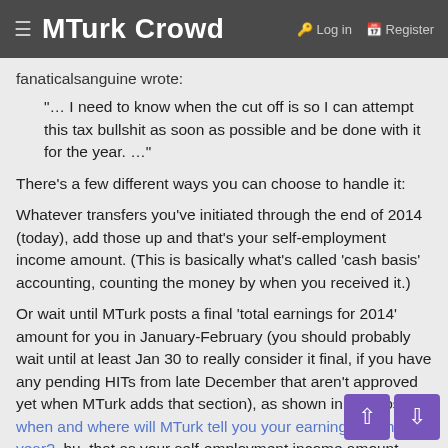MTurk Crowd — Log in | Register
fanaticalsanguine wrote:
"… I need to know when the cut off is so I can attempt this tax bullshit as soon as possible and be done with it for the year. …"
There's a few different ways you can choose to handle it:
Whatever transfers you've initiated through the end of 2014 (today), add those up and that's your self-employment income amount. (This is basically what's called 'cash basis' accounting, counting the money by when you received it.)
Or wait until MTurk posts a final 'total earnings for 2014' amount for you in January-February (you should probably wait until at least Jan 30 to really consider it final, if you have any pending HITs from late December that aren't approved yet when MTurk adds that section), as shown in this post: when and where will MTurk tell you your earnings for the year?, but that as your self-employment income amount. (This is basically what's called 'accrual basis' accounting, counting the money by